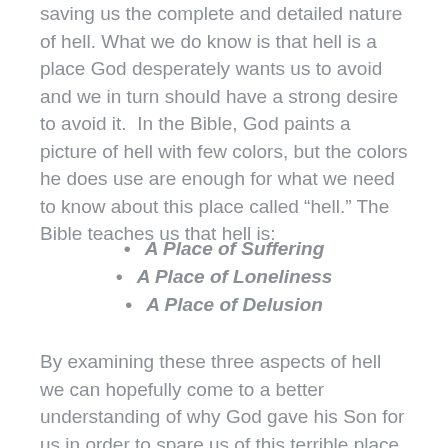saving us the complete and detailed nature of hell. What we do know is that hell is a place God desperately wants us to avoid and we in turn should have a strong desire to avoid it. In the Bible, God paints a picture of hell with few colors, but the colors he does use are enough for what we need to know about this place called “hell.” The Bible teaches us that hell is:
A Place of Suffering
A Place of Loneliness
A Place of Delusion
By examining these three aspects of hell we can hopefully come to a better understanding of why God gave his Son for us in order to spare us of this terrible place.